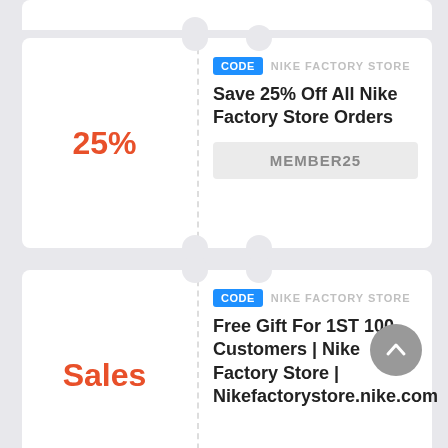25%
CODE  NIKE FACTORY STORE
Save 25% Off All Nike Factory Store Orders
MEMBER25
Sales
CODE  NIKE FACTORY STORE
Free Gift For 1ST 100 Customers | Nike Factory Store | Nikefactorystore.nike.com
EXTRA